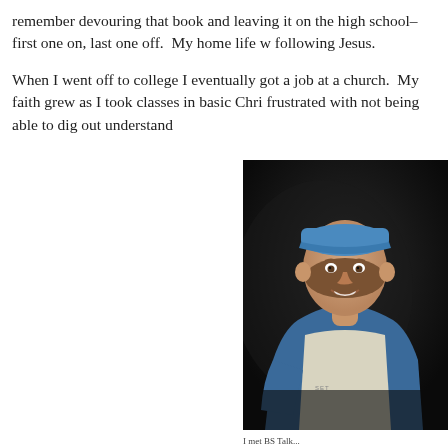remember devouring that book and leaving it on the high school–first one on, last one off.  My home life w following Jesus.
When I went off to college I eventually got a job at a church.  My faith grew as I took classes in basic Chri frustrated with not being able to dig out understand
[Figure (photo): A young teenager wearing a blue cap and a light-colored t-shirt with partial text visible, smiling at the camera in a dark background setting.]
I met BS Talk...